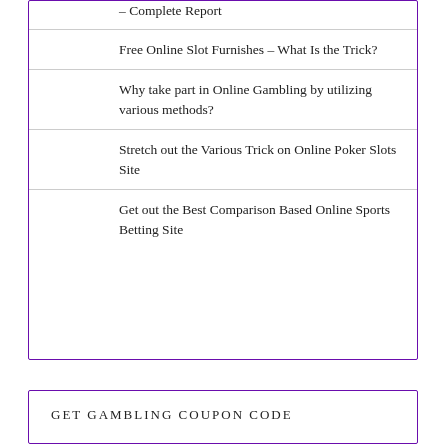– Complete Report
Free Online Slot Furnishes – What Is the Trick?
Why take part in Online Gambling by utilizing various methods?
Stretch out the Various Trick on Online Poker Slots Site
Get out the Best Comparison Based Online Sports Betting Site
GET GAMBLING COUPON CODE